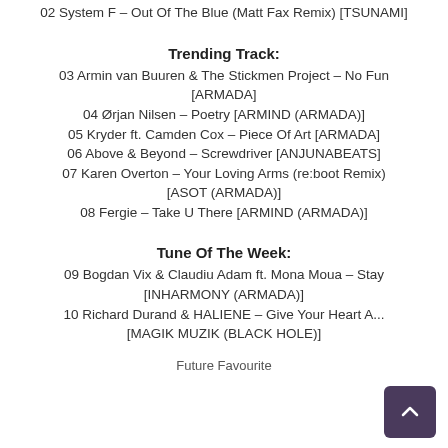02 System F – Out Of The Blue (Matt Fax Remix) [TSUNAMI]
Trending Track:
03 Armin van Buuren & The Stickmen Project – No Fun [ARMADA]
04 Ørjan Nilsen – Poetry [ARMIND (ARMADA)]
05 Kryder ft. Camden Cox – Piece Of Art [ARMADA]
06 Above & Beyond – Screwdriver [ANJUNABEATS]
07 Karen Overton – Your Loving Arms (re:boot Remix) [ASOT (ARMADA)]
08 Fergie – Take U There [ARMIND (ARMADA)]
Tune Of The Week:
09 Bogdan Vix & Claudiu Adam ft. Mona Moua – Stay [INHARMONY (ARMADA)]
10 Richard Durand & HALIENE – Give Your Heart A... [MAGIK MUZIK (BLACK HOLE)]
Future Favourite